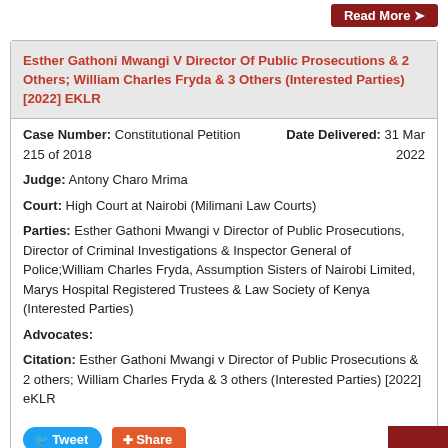Esther Gathoni Mwangi V Director Of Public Prosecutions & 2 Others; William Charles Fryda & 3 Others (Interested Parties) [2022] EKLR
Case Number: Constitutional Petition 215 of 2018  Date Delivered: 31 Mar 2022
Judge: Antony Charo Mrima
Court: High Court at Nairobi (Milimani Law Courts)
Parties: Esther Gathoni Mwangi v Director of Public Prosecutions, Director of Criminal Investigations & Inspector General of Police;William Charles Fryda, Assumption Sisters of Nairobi Limited, Marys Hospital Registered Trustees & Law Society of Kenya (Interested Parties)
Advocates:
Citation: Esther Gathoni Mwangi v Director of Public Prosecutions & 2 others; William Charles Fryda & 3 others (Interested Parties) [2022] eKLR